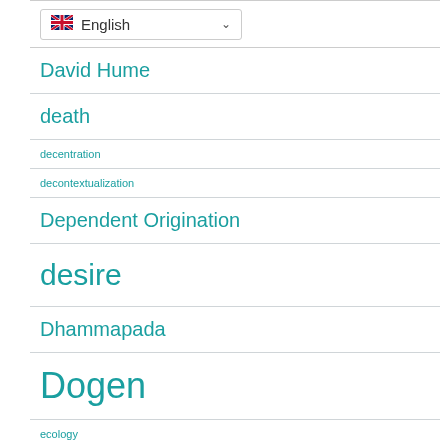English (language selector)
David Hume
death
decentration
decontextualization
Dependent Origination
desire
Dhammapada
Dogen
ecology
emptiness
Engaged Buddhism
enlightenment